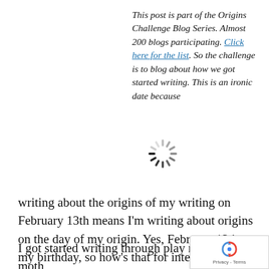[Figure (illustration): A loading spinner icon (circular dashed spokes in black and gray) in the upper left area of the two-column section]
This post is part of the Origins Challenge Blog Series. Almost 200 blogs participating. Click here for the list. So the challenge is to blog about how we got started writing. This is an ironic date because writing about the origins of my writing on February 13th means I'm writing about origins on the day of my origin. Yes, February 13 is my birthday, so how's that for interesting parallels?
I got started writing through play really. My moth says I never played with a toy the same way twice